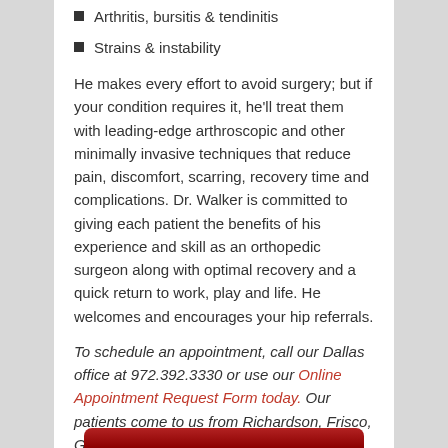Arthritis, bursitis & tendinitis
Strains & instability
He makes every effort to avoid surgery; but if your condition requires it, he'll treat them with leading-edge arthroscopic and other minimally invasive techniques that reduce pain, discomfort, scarring, recovery time and complications. Dr. Walker is committed to giving each patient the benefits of his experience and skill as an orthopedic surgeon along with optimal recovery and a quick return to work, play and life. He welcomes and encourages your hip referrals.
To schedule an appointment, call our Dallas office at 972.392.3330 or use our Online Appointment Request Form today. Our patients come to us from Richardson, Frisco, Garland, Dallas, Fort Worth, Irving and Plano.
[Figure (other): Red rounded button with white text reading 'Request An Appointment']
[Figure (other): Partial red rounded button at bottom of page (cut off)]